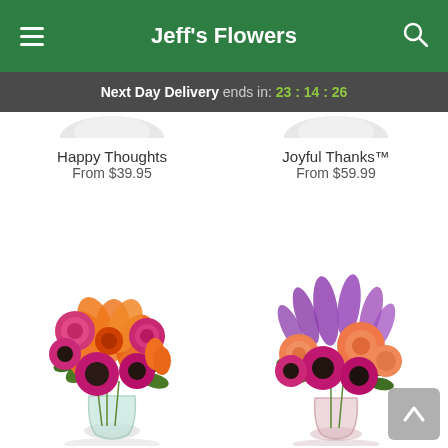Jeff's Flowers
Next Day Delivery ends in: 23:14:26
Happy Thoughts
From $39.95
Joyful Thanks™
From $59.99
[Figure (photo): Vibrant orange lilies, pink roses, and magenta gerbera daisies in a clear glass vase]
[Figure (photo): Mixed bouquet of purple stock, orange roses, and magenta gerbera daisies in a glass vase]
Vibrant Shine Th...
Luminous Th...